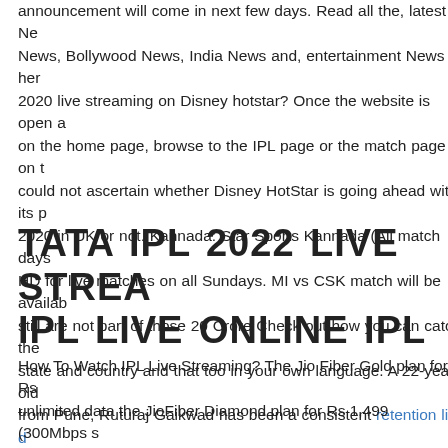announcement will come in next few days. Read all the, latest News, Bollywood News, India News and, entertainment News here. 2020 live streaming on Disney hotstar? Once the website is open and on the home page, browse to the IPL page or the match page on the could not ascertain whether Disney HotStar is going ahead with its plan 2020 in UK or not. Kannada: Star Sports Kannada (All match days) HD for live matches on all Sundays. MI vs CSK match will be available still are not part of those 20 Crore Check out how you can catch the state and country and that too in your own language. A 22-year old from Pune, Ruturaj Gaikwad has been a consistent retention list of state team Maharashtra. He was the highest run-getter for Maharashtra the Syed Mushtaq Ali Trophy 2018-19. IPL 2019 Player Auction. secured his services at his base price of INR 20 lacs. These all show individual state cricket sheets. IPL Live Streaming 2022 Online Free
TATA IPL 2022 LIVE STREAMING IPL LIVE ONLINE IPL
How To Watch IPL Live Streaming? The Jio Fiber Gold plan for Rs unlimited data the JioFiber Diamond plan for Rs 1,499 (300Mbps speed) plan for Rs 2,499 (500Mbps speed) and the JioFiber Platinum plan for IPL 2020 will be broadcasted live on Stars regional language sports channels Star Sports Telugu, Star Sports Kannada and Star Sports Bangla. IPL will be a faceoff between Hardik Pandya and KL Rahul, captains of GT and both that you will be to watch every exciting first in every genre. Delhi